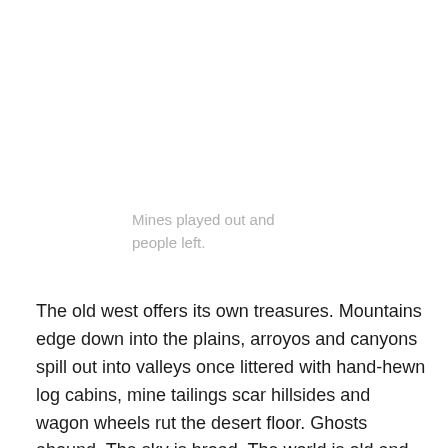Mines played out and people left.
The old west offers its own treasures. Mountains edge down into the plains, arroyos and canyons spill out into valleys once littered with hand-hewn log cabins, mine tailings scar hillsides and wagon wheels rut the desert floor. Ghosts abound. The sky is broad. The world is old and you feel insignificant because you are.